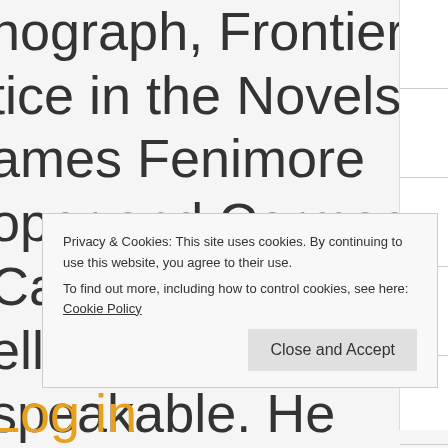nograph, Frontier tice in the Novels ames Fenimore oper and Cormac Carthy, and the ella speakable. He gs at Infinite en ar
Privacy & Cookies: This site uses cookies. By continuing to use this website, you agree to their use. To find out more, including how to control cookies, see here: Cookie Policy
Close and Accept
Log in